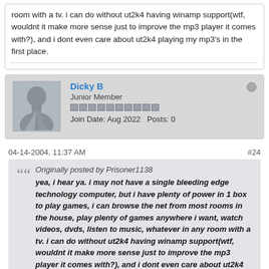room with a tv. i can do without ut2k4 having winamp support(wtf, wouldnt it make more sense just to improve the mp3 player it comes with?), and i dont even care about ut2k4 playing my mp3's in the first place.
Dicky B
Junior Member
Join Date: Aug 2022   Posts: 0
04-14-2004, 11:37 AM
#24
Originally posted by Prisoner1138
yea, i hear ya. i may not have a single bleeding edge technology computer, but i have plenty of power in 1 box to play games, i can browse the net from most rooms in the house, play plenty of games anywhere i want, watch videos, dvds, listen to music, whatever in any room with a tv. i can do without ut2k4 having winamp support(wtf, wouldnt it make more sense just to improve the mp3 player it comes with?), and i dont even care about ut2k4 playing my mp3's in the first place.
Yeah, a lot of games I play, you don't want music at all, gotta hear